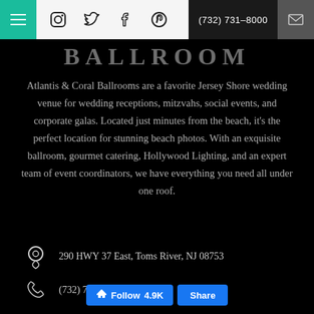Navigation bar with hamburger menu, social icons (Instagram, Twitter, Facebook, Pinterest), phone (732) 731-8000, and mail icon
BALLROOM
Atlantis & Coral Ballrooms are a favorite Jersey Shore wedding venue for wedding receptions, mitzvahs, social events, and corporate galas. Located just minutes from the beach, it's the perfect location for stunning beach photos. With an exquisite ballroom, gourmet catering, Hollywood Lighting, and an expert team of event coordinators, we have everything you need all under one roof.
290 HWY 37 East, Toms River, NJ 08753
(732) 731-8000
info@atlantisballroom.com
Follow 4.9K  Share